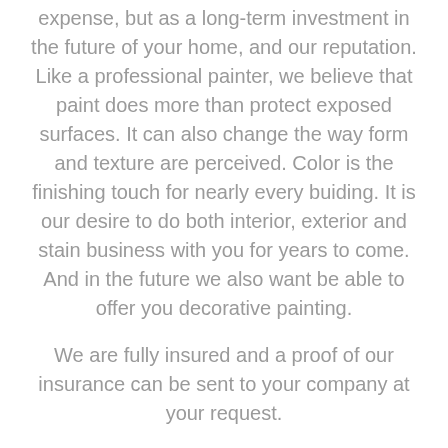expense, but as a long-term investment in the future of your home, and our reputation. Like a professional painter, we believe that paint does more than protect exposed surfaces. It can also change the way form and texture are perceived. Color is the finishing touch for nearly every buiding. It is our desire to do both interior, exterior and stain business with you for years to come. And in the future we also want be able to offer you decorative painting.
We are fully insured and a proof of our insurance can be sent to your company at your request.
DECOR PAINTING CO. owns all the equipment needed to ensure the job is done right the first